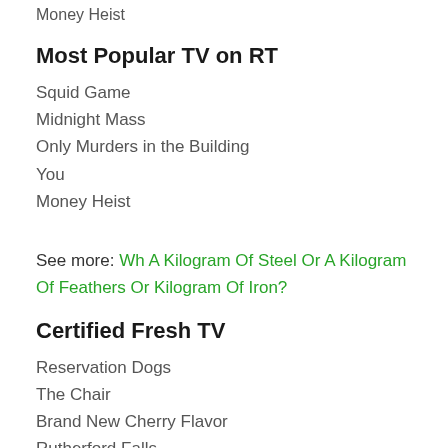Money Heist
Most Popular TV on RT
Squid Game
Midnight Mass
Only Murders in the Building
You
Money Heist
See more: Wh A Kilogram Of Steel Or A Kilogram Of Feathers Or Kilogram Of Iron?
Certified Fresh TV
Reservation Dogs
The Chair
Brand New Cherry Flavor
Rutherford Falls
Starstruck